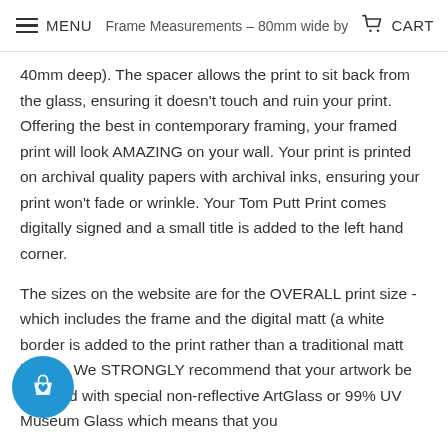MENU  Frame Measurements – 80mm wide by  CART
40mm deep). The spacer allows the print to sit back from the glass, ensuring it doesn't touch and ruin your print. Offering the best in contemporary framing, your framed print will look AMAZING on your wall. Your print is printed on archival quality papers with archival inks, ensuring your print won't fade or wrinkle. Your Tom Putt Print comes digitally signed and a small title is added to the left hand corner.

The sizes on the website are for the OVERALL print size - which includes the frame and the digital matt (a white border is added to the print rather than a traditional matt board). We STRONGLY recommend that your artwork be supplied with special non-reflective ArtGlass or 99% UV Museum Glass which means that you
[Figure (illustration): Floating blue circular button with a shopping bag and heart icon]